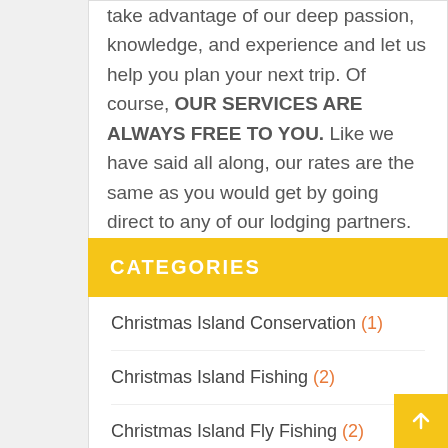take advantage of our deep passion, knowledge, and experience and let us help you plan your next trip. Of course, OUR SERVICES ARE ALWAYS FREE TO YOU. Like we have said all along, our rates are the same as you would get by going direct to any of our lodging partners.
CATEGORIES
Christmas Island Conservation (1)
Christmas Island Fishing (2)
Christmas Island Fly Fishing (2)
Fly Gear Review (2)